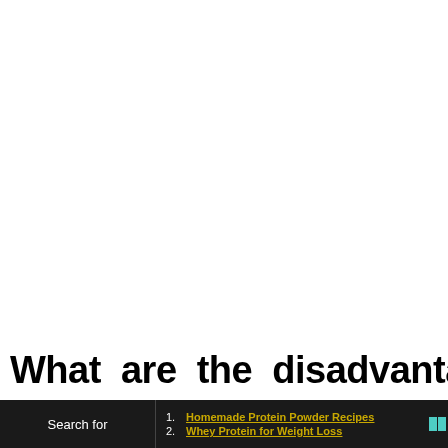What are the disadvantages of
Search for
1. Homemade Protein Powder Recipes
2. Whey Protein for Weight Loss